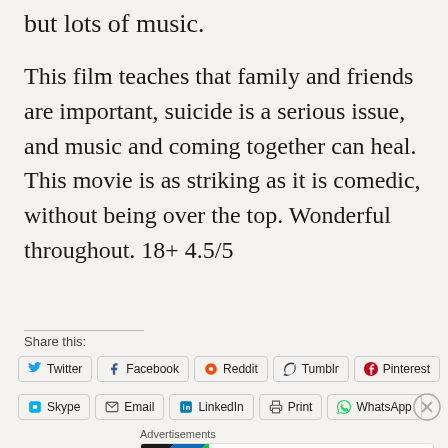but lots of music.
This film teaches that family and friends are important, suicide is a serious issue, and music and coming together can heal. This movie is as striking as it is comedic, without being over the top. Wonderful throughout. 18+ 4.5/5
Share this:
Twitter | Facebook | Reddit | Tumblr | Pinterest | Skype | Email | LinkedIn | Print | WhatsApp
[Figure (infographic): Pocket Casts podcast app advertisement banner]
Advertisements